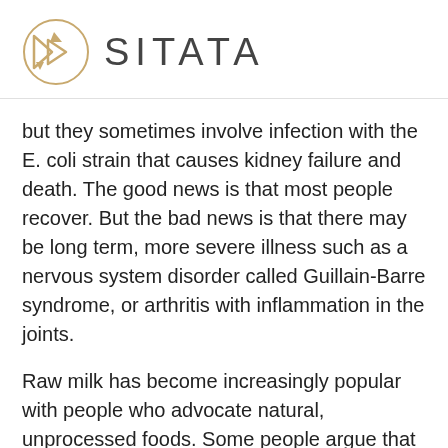[Figure (logo): SITATA logo: circular emblem with geometric arrow/shield shapes in gold/amber on white background, next to the text 'SITATA' in large light-weight sans-serif font]
but they sometimes involve infection with the E. coli strain that causes kidney failure and death. The good news is that most people recover. But the bad news is that there may be long term, more severe illness such as a nervous system disorder called Guillain-Barre syndrome, or arthritis with inflammation in the joints.
Raw milk has become increasingly popular with people who advocate natural, unprocessed foods. Some people argue that raw milk is more “wholesome” or “healthier with more nutrients” compared to pasteurized milk, which is simply not true. Some people fail to